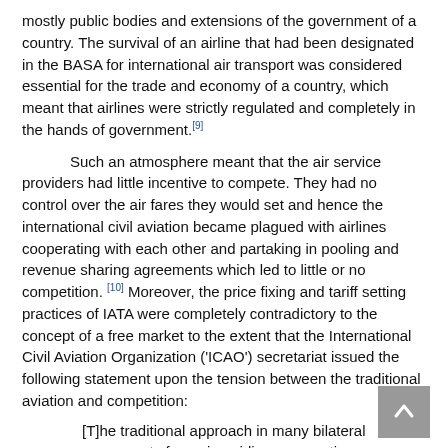mostly public bodies and extensions of the government of a country. The survival of an airline that had been designated in the BASA for international air transport was considered essential for the trade and economy of a country, which meant that airlines were strictly regulated and completely in the hands of government.[9]
Such an atmosphere meant that the air service providers had little incentive to compete. They had no control over the air fares they would set and hence the international civil aviation became plagued with airlines cooperating with each other and partaking in pooling and revenue sharing agreements which led to little or no competition. [10] Moreover, the price fixing and tariff setting practices of IATA were completely contradictory to the concept of a free market to the extent that the International Civil Aviation Organization ('ICAO') secretariat issued the following statement upon the tension between the traditional aviation and competition:
[T]he traditional approach in many bilateral agreements favouring airline cooperation on issues like capacity and pricing is squarely at odds with competition law principles and the disciplines of international trade...